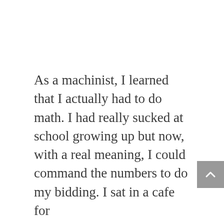As a machinist, I learned that I actually had to do math. I had really sucked at school growing up but now, with a real meaning, I could command the numbers to do my bidding. I sat in a cafe for